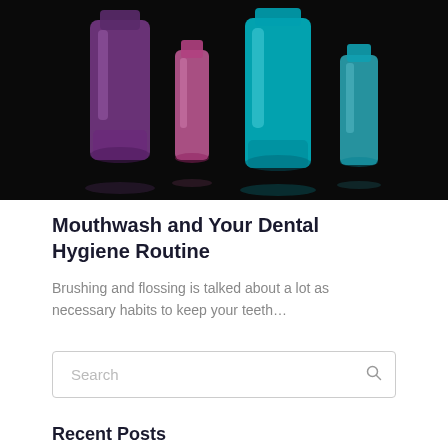[Figure (photo): Mouthwash bottles (purple and cyan/teal) illuminated against a dark black background]
Mouthwash and Your Dental Hygiene Routine
Brushing and flossing is talked about a lot as necessary habits to keep your teeth…
Search
Recent Posts
COVID-19 UPDATE …ergency?